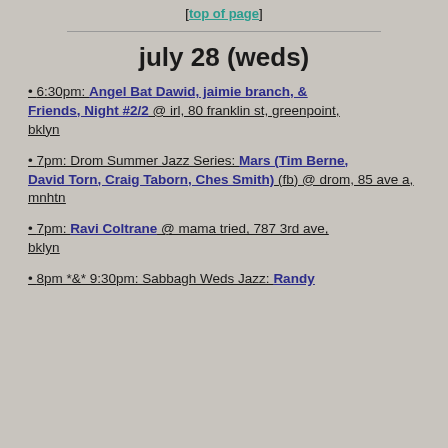[top of page]
july 28 (weds)
• 6:30pm: Angel Bat Dawid, jaimie branch, & Friends, Night #2/2 @ irl, 80 franklin st, greenpoint, bklyn
• 7pm: Drom Summer Jazz Series: Mars (Tim Berne, David Torn, Craig Taborn, Ches Smith) (fb) @ drom, 85 ave a, mnhtn
• 7pm: Ravi Coltrane @ mama tried, 787 3rd ave, bklyn
• 8pm *&* 9:30pm: Sabbagh Weds Jazz: Randy